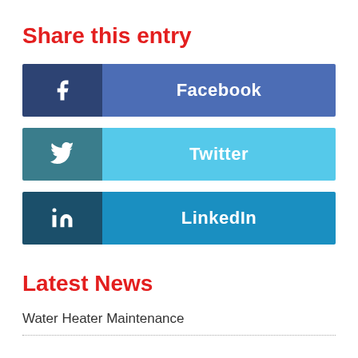Share this entry
[Figure (infographic): Three social sharing buttons: Facebook (dark blue icon, medium blue label), Twitter (teal icon, light blue label), LinkedIn (dark navy icon, medium blue label)]
Latest News
Water Heater Maintenance